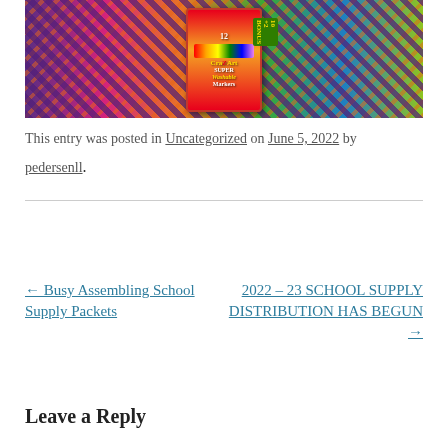[Figure (photo): School supplies spread on a wooden table including colored pencils, markers, rulers, pencil sharpeners, and a CraZ Art Super Washable Markers box (12 count, 10+2 bonus)]
This entry was posted in Uncategorized on June 5, 2022 by pedersenll.
← Busy Assembling School Supply Packets
2022 – 23 SCHOOL SUPPLY DISTRIBUTION HAS BEGUN →
Leave a Reply